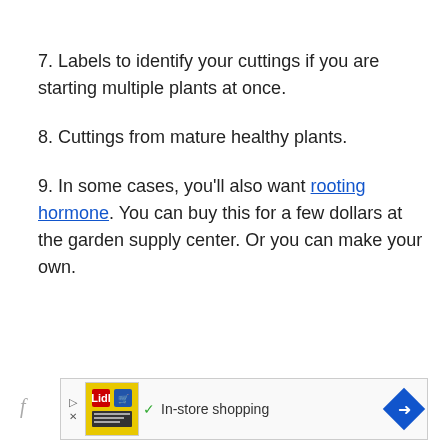7. Labels to identify your cuttings if you are starting multiple plants at once.
8. Cuttings from mature healthy plants.
9. In some cases, you’ll also want rooting hormone. You can buy this for a few dollars at the garden supply center. Or you can make your own.
[Figure (screenshot): Advertisement banner showing Lidl logo with 'In-store shopping' text and navigation arrow icon]